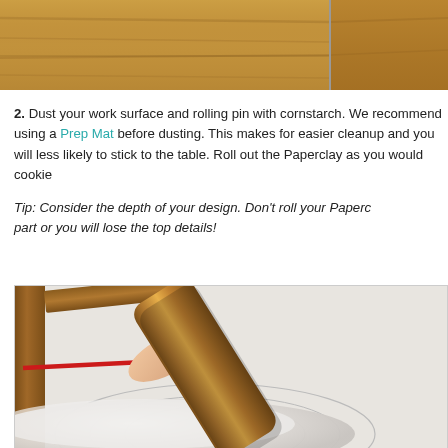[Figure (photo): Two cropped photos at top showing a wooden surface/table top background, partially visible.]
2. Dust your work surface and rolling pin with cornstarch. We recommend using a Prep Mat before dusting. This makes for easier cleanup and you will less likely to stick to the table. Roll out the Paperclay as you would cookie dough.
Tip: Consider the depth of your design. Don't roll your Paperclay too thin in that part or you will lose the top details!
[Figure (photo): Photo showing hands using a wooden rolling pin to roll out white Paperclay on a silicone prep/baking mat with circular measurement guides, wooden guide strips visible on the mat edges, and a red line on the mat.]